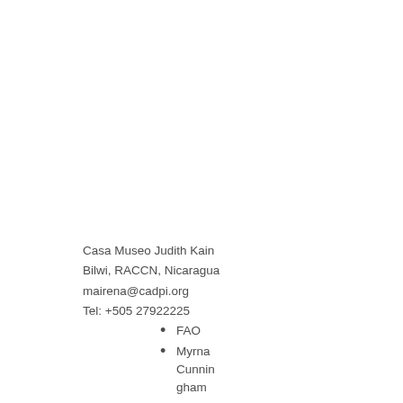Casa Museo Judith Kain
Bilwi, RACCN, Nicaragua
mairena@cadpi.org
Tel: +505 27922225
FAO
Myrna Cunningham
TERTE